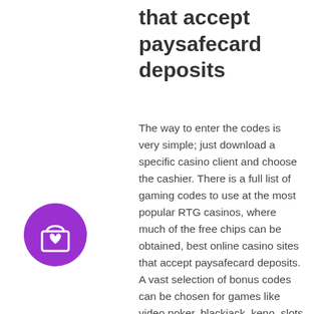that accept paysafecard deposits
The way to enter the codes is very simple; just download a specific casino client and choose the cashier. There is a full list of gaming codes to use at the most popular RTG casinos, where much of the free chips can be obtained, best online casino sites that accept paysafecard deposits. A vast selection of bonus codes can be chosen for games like video poker, blackjack, keno, slots and others. There are also daily bonuses, such as no deposits for RTG software, special codes, match bonuses and many more.
You shouldn't have any trouble at all getting started here, best online casino sites that accept paysafecard deposits.
No Deposit Casino Bonus: Best No Deposit Bonuses of 2021. Bonuses are the best way
[Figure (illustration): Purple circle icon with a shopping bag and heart symbol]